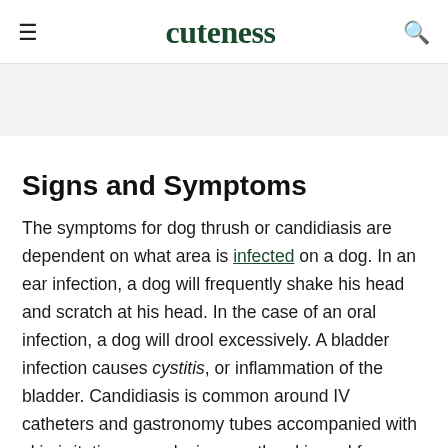cuteness
Signs and Symptoms
The symptoms for dog thrush or candidiasis are dependent on what area is infected on a dog. In an ear infection, a dog will frequently shake his head and scratch at his head. In the case of an oral infection, a dog will drool excessively. A bladder infection causes cystitis, or inflammation of the bladder. Candidiasis is common around IV catheters and gastronomy tubes accompanied with skin irritation, open lesions on the skin and fever.